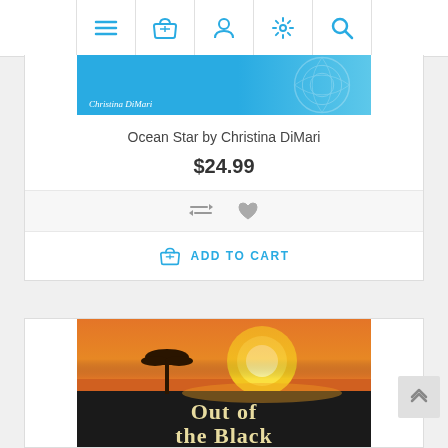[Figure (screenshot): E-commerce website navigation bar with icons: hamburger menu, shopping basket, user profile, settings gear, and search magnifying glass]
[Figure (illustration): Book cover for 'Ocean Star' by Christina DiMari — light blue background with decorative mandala pattern]
Ocean Star by Christina DiMari
$24.99
[Figure (illustration): Action icons: compare arrows and heart/wishlist icon]
ADD TO CART
[Figure (illustration): Book cover showing African savanna sunset with acacia tree silhouette and title 'Out of the Black']